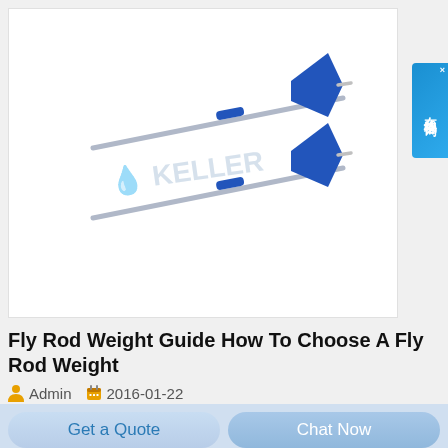[Figure (photo): Two fly rod weights (indicators) shown diagonally — silver metal rods with blue cylindrical grips and blue diamond/arrow-shaped wing-like fins. A watermark reading KELLER is visible in the center.]
Fly Rod Weight Guide How To Choose A Fly Rod Weight
Admin   2016-01-22
The 5 weight nine foot rod is pretty much the industry standard for any freshwater fly fishing It s